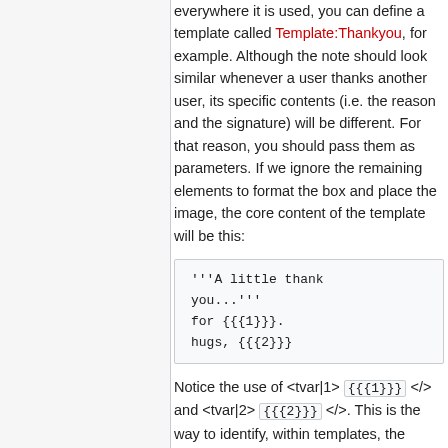everywhere it is used, you can define a template called Template:Thankyou, for example. Although the note should look similar whenever a user thanks another user, its specific contents (i.e. the reason and the signature) will be different. For that reason, you should pass them as parameters. If we ignore the remaining elements to format the box and place the image, the core content of the template will be this:
'''A little thank you...'''
for {{{1}}}.
hugs, {{{2}}}
Notice the use of <tvar|1> {{{1}}} </> and <tvar|2> {{{2}}} </>. This is the way to identify, within templates, the